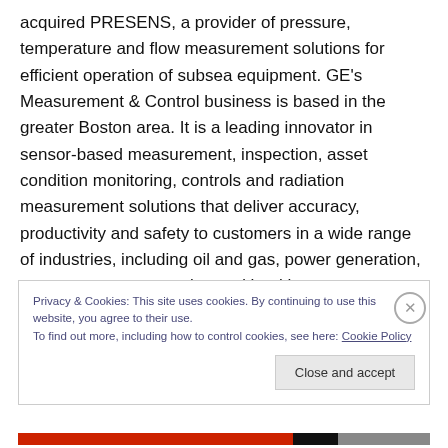acquired PRESENS, a provider of pressure, temperature and flow measurement solutions for efficient operation of subsea equipment. GE's Measurement & Control business is based in the greater Boston area. It is a leading innovator in sensor-based measurement, inspection, asset condition monitoring, controls and radiation measurement solutions that deliver accuracy, productivity and safety to customers in a wide range of industries, including oil and gas, power generation, aerospace, transportation and healthcare.
Privacy & Cookies: This site uses cookies. By continuing to use this website, you agree to their use.
To find out more, including how to control cookies, see here: Cookie Policy
Close and accept